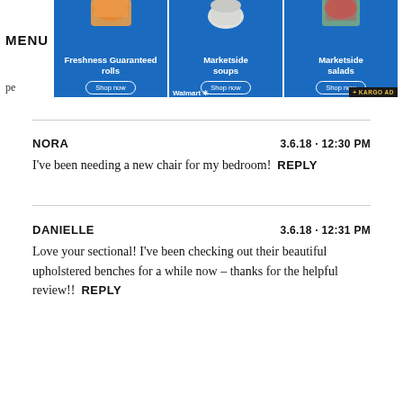[Figure (screenshot): Walmart advertisement banner showing three blue cards: Freshness Guaranteed rolls, Marketside soups, and Marketside salads, each with a Shop now button. Walmart logo and KARGO AD badge visible.]
MENU
pe
NORA   3.6.18 · 12:30 PM
I've been needing a new chair for my bedroom!  REPLY
DANIELLE   3.6.18 · 12:31 PM
Love your sectional! I've been checking out their beautiful upholstered benches for a while now – thanks for the helpful review!!  REPLY